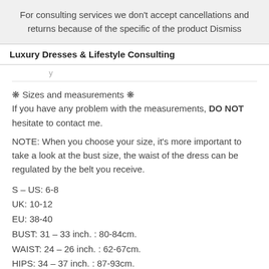For consulting services we don't accept cancellations and returns because of the specific of the product Dismiss
Luxury Dresses & Lifestyle Consulting
❋ Sizes and measurements ❋
If you have any problem with the measurements, DO NOT hesitate to contact me.
NOTE: When you choose your size, it's more important to take a look at the bust size, the waist of the dress can be regulated by the belt you receive.
S – US: 6-8
UK: 10-12
EU: 38-40
BUST: 31 – 33 inch. : 80-84cm.
WAIST: 24 – 26 inch. : 62-67cm.
HIPS: 34 – 37 inch. : 87-93cm.
Hollow to floor: 57inch. : 145cm.
M – US: 8-10
UK: 12-14
EU: 40-42